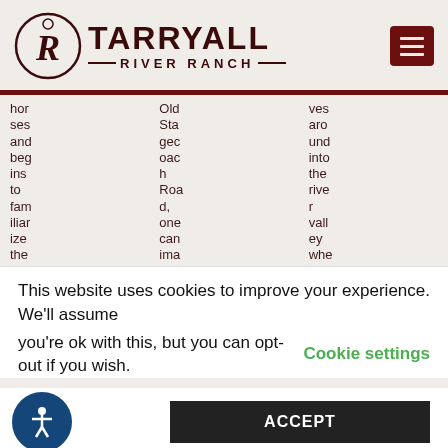[Figure (logo): Tarryall River Ranch logo with circular TR monogram and text]
horses and begins to familiarize them with horse etiquette ... Old Stagecoach Road, one can imagine how the Colorado ... ves around into the river valley where Tarryall Creek join
This website uses cookies to improve your experience. We'll assume you're ok with this, but you can opt-out if you wish.
Cookie settings
ACCEPT